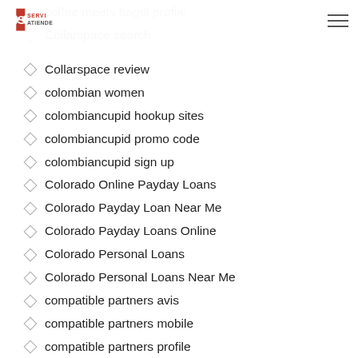ServiAtiende navigation bar with logo and hamburger menu
coffee meets bagel profile
Collarspace search
Collarspace review
colombian women
colombiancupid hookup sites
colombiancupid promo code
colombiancupid sign up
Colorado Online Payday Loans
Colorado Payday Loan Near Me
Colorado Payday Loans Online
Colorado Personal Loans
Colorado Personal Loans Near Me
compatible partners avis
compatible partners mobile
compatible partners profile
compatible partners review
connected2 me dating
Connecticut Online Bad Credit